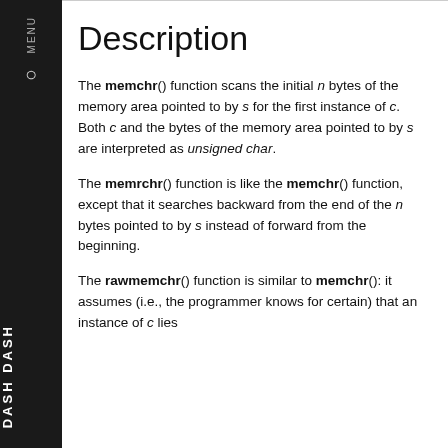Description
The memchr() function scans the initial n bytes of the memory area pointed to by s for the first instance of c. Both c and the bytes of the memory area pointed to by s are interpreted as unsigned char.
The memrchr() function is like the memchr() function, except that it searches backward from the end of the n bytes pointed to by s instead of forward from the beginning.
The rawmemchr() function is similar to memchr(): it assumes (i.e., the programmer knows for certain) that an instance of c lies